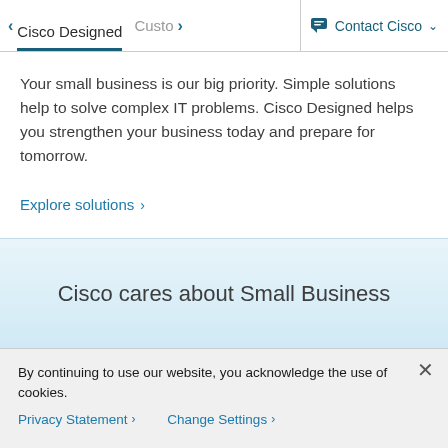< Cisco Designed   Custo >   Contact Cisco v
Your small business is our big priority. Simple solutions help to solve complex IT problems. Cisco Designed helps you strengthen your business today and prepare for tomorrow.
Explore solutions >
Cisco cares about Small Business
By continuing to use our website, you acknowledge the use of cookies.
Privacy Statement >   Change Settings >